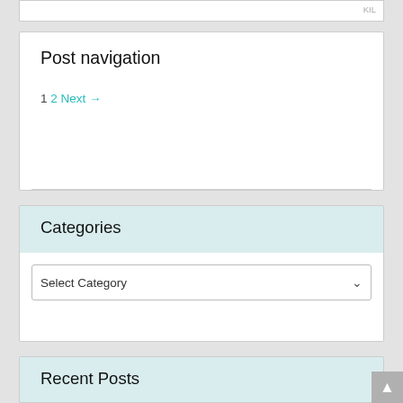Post navigation
1 2 Next →
Categories
Select Category
Recent Posts
[August-2022]XK0-004 Exam VCE Dumps Free Download in Braindump2go[Q385-Q398]
[August-2022]Braindump2go CS0-002 VCE Exam Dumps CS0-002 806Q for 100% Passing CS0-002 Exam[Q807-